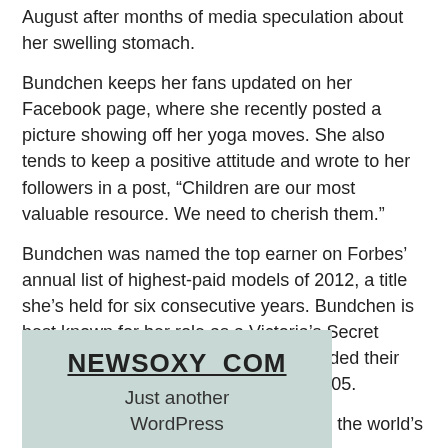August after months of media speculation about her swelling stomach.
Bundchen keeps her fans updated on her Facebook page, where she recently posted a picture showing off her yoga moves. She also tends to keep a positive attitude and wrote to her followers in a post, “Children are our most valuable resource. We need to cherish them.”
Bundchen was named the top earner on Forbes’ annual list of highest-paid models of 2012, a title she’s held for six consecutive years. Bundchen is best known for her role as a Victoria’s Secret model. She and Leonardo DiCaprio ended their high-profile, five-year relationship in 2005.
Bundchen and Brady were also named the world’s highest-paid celebrity couple of 2011.
[Figure (other): Website widget box for NEWSOXY_COM with tagline 'Just another WordPress']